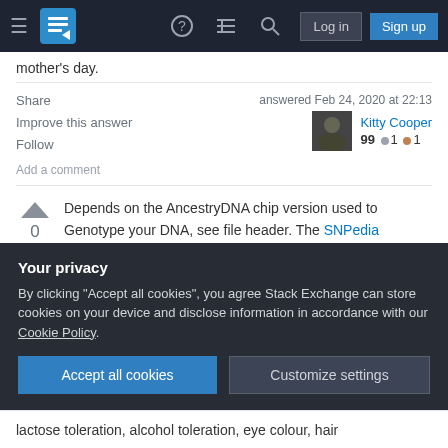Stack Exchange navigation bar with Log in and Sign up buttons
mother's day.
Share   Improve this answer   Follow   Add a comment
answered Feb 24, 2020 at 22:13
Kitty Cooper
99 ● 1 ● 1
Depends on the AncestryDNA chip version used to Genotype your DNA, see file header. The SNPedia Haplogroup site details what's polled by the different chip versions, and you could spend many an hour
Your privacy
By clicking "Accept all cookies", you agree Stack Exchange can store cookies on your device and disclose information in accordance with our Cookie Policy.
Accept all cookies   Customize settings
lactose toleration, alcohol toleration, eye colour, hair